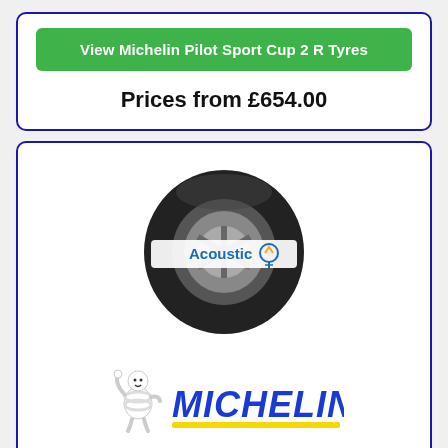View Michelin Pilot Sport Cup 2 R Tyres
Prices from £654.00
[Figure (photo): Michelin tyre with Acoustic label, shown at an angle on a rim]
[Figure (logo): Michelin logo with Bibendum mascot and yellow underline]
Pilot Sport EV